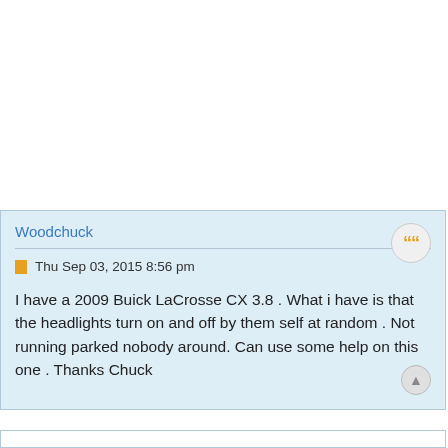Woodchuck
Thu Sep 03, 2015 8:56 pm
I have a 2009 Buick LaCrosse CX 3.8 . What i have is that the headlights turn on and off by them self at random . Not running parked nobody around. Can use some help on this one . Thanks Chuck